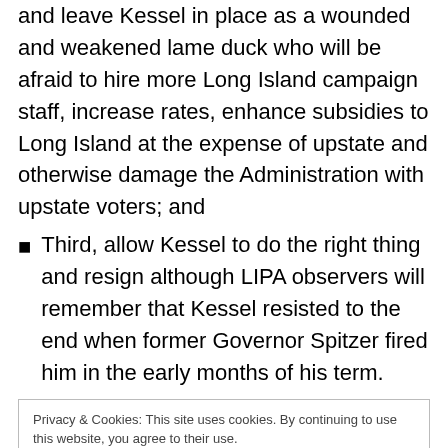and leave Kessel in place as a wounded and weakened lame duck who will be afraid to hire more Long Island campaign staff, increase rates, enhance subsidies to Long Island at the expense of upstate and otherwise damage the Administration with upstate voters; and
Third, allow Kessel to do the right thing and resign although LIPA observers will remember that Kessel resisted to the end when former Governor Spitzer fired him in the early months of his term.
Privacy & Cookies: This site uses cookies. By continuing to use this website, you agree to their use. To find out more, including how to control cookies, see here: Cookie Policy
Watch, March 22, 2009 – By